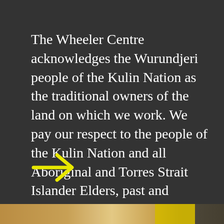The Wheeler Centre acknowledges the Wurundjeri people of the Kulin Nation as the traditional owners of the land on which we work. We pay our respect to the people of the Kulin Nation and all Aboriginal and Torres Strait Islander Elders, past and present.
[Figure (illustration): A yellow right-pointing arrow symbol]
[Figure (photo): Partial photo strip visible at the bottom of the page showing a person with blonde hair and a yellow element]